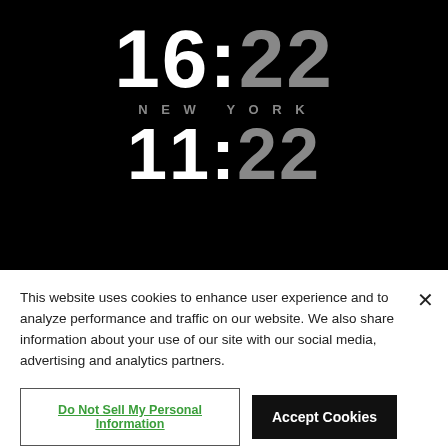16:22
NEW YORK
11:22
This website uses cookies to enhance user experience and to analyze performance and traffic on our website. We also share information about your use of our site with our social media, advertising and analytics partners.
Do Not Sell My Personal Information
Accept Cookies